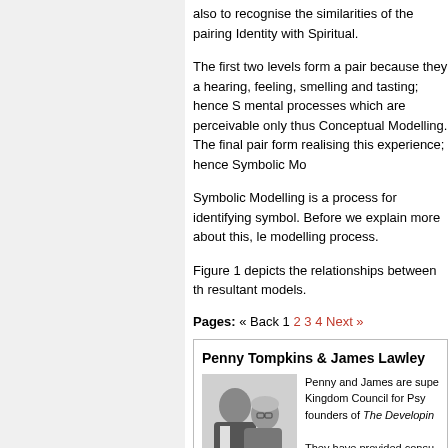also to recognise the similarities of the pairing Identity with Spiritual.
The first two levels form a pair because they a hearing, feeling, smelling and tasting; hence S mental processes which are perceivable only thus Conceptual Modelling. The final pair form realising this experience; hence Symbolic Mo
Symbolic Modelling is a process for identifying symbol. Before we explain more about this, le modelling process.
Figure 1 depicts the relationships between th resultant models.
Pages: « Back 1 2 3 4 Next »
Penny Tompkins & James Lawley
Penny and James are supe Kingdom Council for Psy founders of The Developin
They have provided consu Study Center, NASA Go